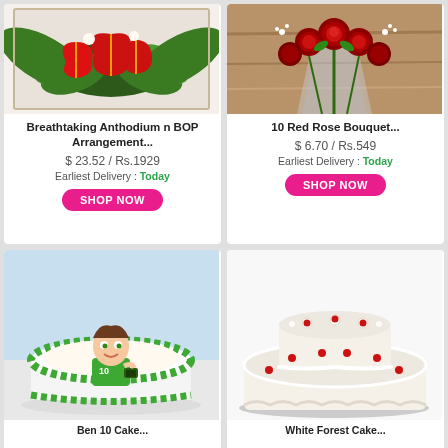[Figure (photo): Breathtaking Anthodium n BOP floral arrangement with red anthuriums and tropical leaves on white background]
Breathtaking Anthodium n BOP Arrangement...
$ 23.52 / Rs.1929
Earliest Delivery : Today
SHOP NOW
[Figure (photo): 10 Red Rose Bouquet wrapped in cellophane]
10 Red Rose Bouquet...
$ 6.70 / Rs.549
Earliest Delivery : Today
SHOP NOW
[Figure (photo): Round cake with green frosting border featuring Ben 10 cartoon character print]
[Figure (photo): Two-tier white cream cake with red cherry decorations on white background]